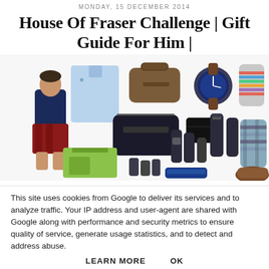MONDAY, 15 DECEMBER 2014
House Of Fraser Challenge | Gift Guide For Him |
[Figure (photo): Collage of men's gift items including a light blue dress shirt, brown leather duffle bag, blue chronograph watch, colorful striped socks, black toiletry bag, grooming products set, plaid scarf, a man wearing a navy t-shirt and plaid shorts, green gift box, and a brown shoe. White background.]
This site uses cookies from Google to deliver its services and to analyze traffic. Your IP address and user-agent are shared with Google along with performance and security metrics to ensure quality of service, generate usage statistics, and to detect and address abuse.
LEARN MORE    OK